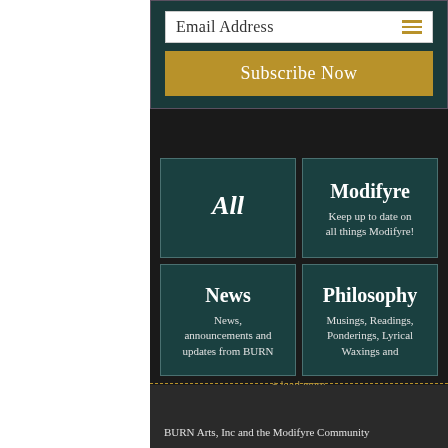Email Address
Subscribe Now
All
Modifyre
Keep up to date on all things Modifyre!
News
News, announcements and updates from BURN
Philosophy
Musings, Readings, Ponderings, Lyrical Waxings and
Load More
BURN Arts, Inc and the Modifyre Community